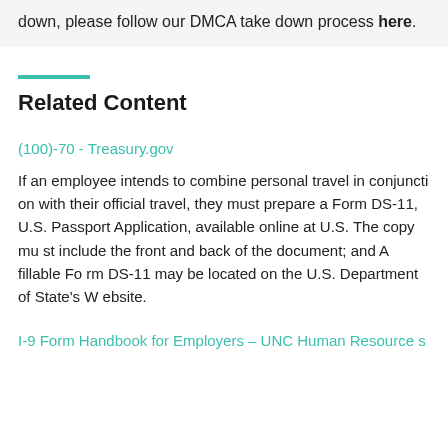down, please follow our DMCA take down process here.
Related Content
(100)-70 - Treasury.gov
If an employee intends to combine personal travel in conjunction with their official travel, they must prepare a Form DS-11, U.S. Passport Application, available online at U.S. The copy must include the front and back of the document; and A fillable Form DS-11 may be located on the U.S. Department of State's Website.
I-9 Form Handbook for Employers – UNC Human Resources